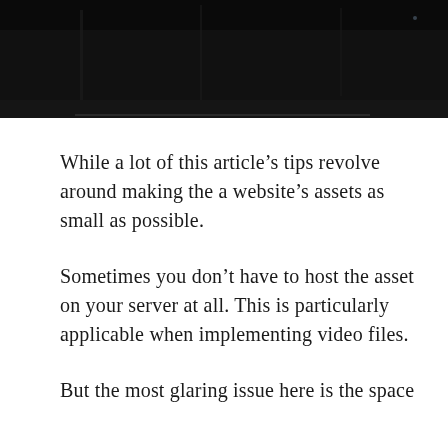[Figure (photo): Dark atmospheric photograph, mostly dark/black tones, appears to be an outdoor night scene]
While a lot of this article's tips revolve around making the a website's assets as small as possible.
Sometimes you don't have to host the asset on your server at all. This is particularly applicable when implementing video files.
The process of editing, uploading and hosting a video is quite cumbersome and can take too much time for multiple uploads.
But the most glaring issue here is the space